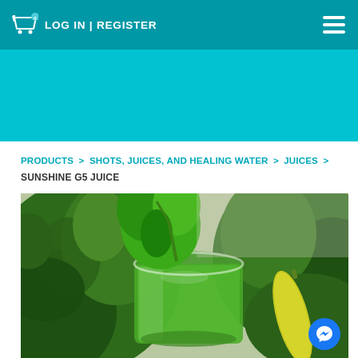LOG IN | REGISTER
PRODUCTS > SHOTS, JUICES, AND HEALING WATER > JUICES > SUNSHINE G5 JUICE
[Figure (photo): Green juice in a glass surrounded by kale and a yellow pepper on a white cloth surface]